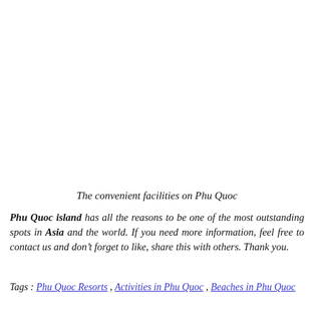The convenient facilities on Phu Quoc
Phu Quoc island has all the reasons to be one of the most outstanding spots in Asia and the world. If you need more information, feel free to contact us and don't forget to like, share this with others. Thank you.
Tags : Phu Quoc Resorts , Activities in Phu Quoc , Beaches in Phu Quoc